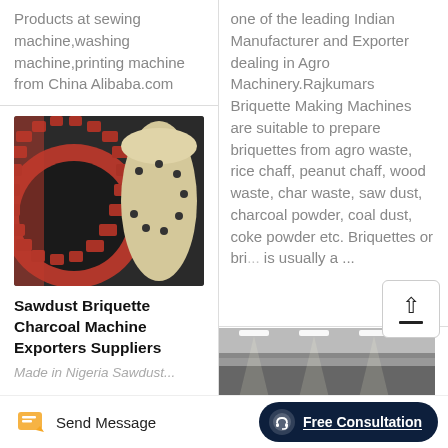Products at sewing machine,washing machine,printing machine from China Alibaba.com
[Figure (photo): Close-up photo of industrial machinery showing large red and beige gear/briquette machine components]
Sawdust Briquette Charcoal Machine Exporters Suppliers
Made in Nigeria Sawdust...
one of the leading Indian Manufacturer and Exporter dealing in Agro Machinery.Rajkumars Briquette Making Machines are suitable to prepare briquettes from agro waste, rice chaff, peanut chaff, wood waste, char waste, saw dust, charcoal powder, coal dust, coke powder etc. Briquettes or bri... is usually a ...
[Figure (photo): Industrial building interior with bright lights — bottom right partial image]
Send Message
Free Consultation